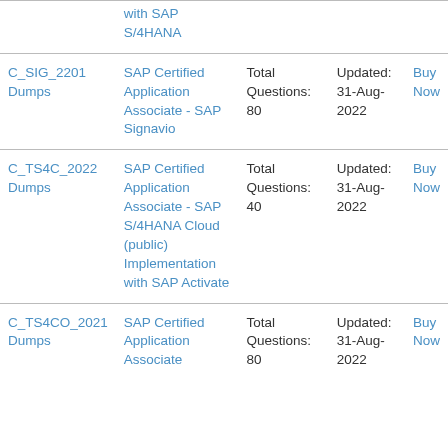| Exam | Description | Questions | Updated | Action |
| --- | --- | --- | --- | --- |
|  | with SAP S/4HANA |  |  |  |
| C_SIG_2201 Dumps | SAP Certified Application Associate - SAP Signavio | Total Questions: 80 | Updated: 31-Aug-2022 | Buy Now |
| C_TS4C_2022 Dumps | SAP Certified Application Associate - SAP S/4HANA Cloud (public) Implementation with SAP Activate | Total Questions: 40 | Updated: 31-Aug-2022 | Buy Now |
| C_TS4CO_2021 Dumps | SAP Certified Application Associate | Total Questions: 80 | Updated: 31-Aug-2022 | Buy Now |